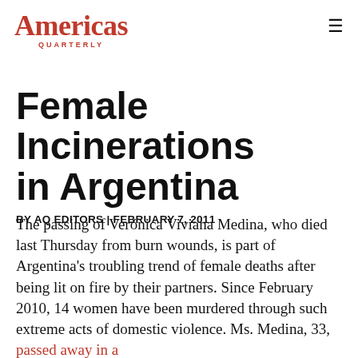Americas Quarterly
Female Incinerations in Argentina
BY AQ EDITORS | FEBRUARY 7, 2011
The passing of Verónica Viviana Medina, who died last Thursday from burn wounds, is part of Argentina's troubling trend of female deaths after being lit on fire by their partners. Since February 2010, 14 women have been murdered through such extreme acts of domestic violence. Ms. Medina, 33, passed away in a